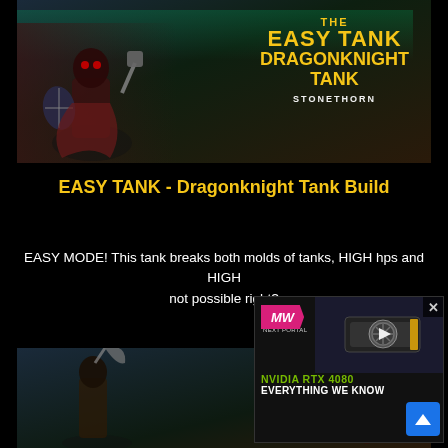[Figure (screenshot): Game thumbnail image showing a Dragonknight character with shield and mace against a dark fantasy background with aurora. Text overlay reads: THE EASY TANK / DRAGONKNIGHT TANK / STONETHORN]
EASY TANK - Dragonknight Tank Build
EASY MODE! This tank breaks both molds of tanks, HIGH hps and HIGH... not possible right?
[Figure (screenshot): Advertisement overlay for NVIDIA RTX 4080 'Everything We Know' video, with MW logo, play button, and GPU image]
[Figure (screenshot): Bottom thumbnail showing a Fury PVP Stamina build, with a warrior character and yellow text reading FURY / PVR STAMINA with blood splatter effects]